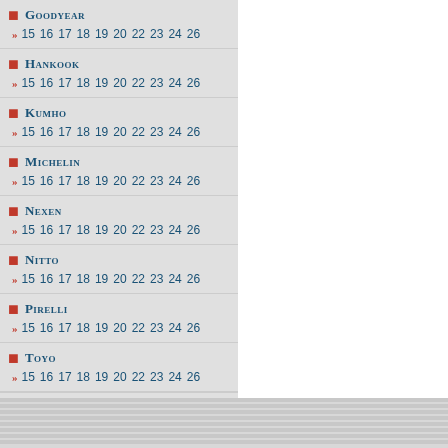Goodyear — 15 16 17 18 19 20 22 23 24 26
Hankook — 15 16 17 18 19 20 22 23 24 26
Kumho — 15 16 17 18 19 20 22 23 24 26
Michelin — 15 16 17 18 19 20 22 23 24 26
Nexen — 15 16 17 18 19 20 22 23 24 26
Nitto — 15 16 17 18 19 20 22 23 24 26
Pirelli — 15 16 17 18 19 20 22 23 24 26
Toyo — 15 16 17 18 19 20 22 23 24 26
more tire
Check